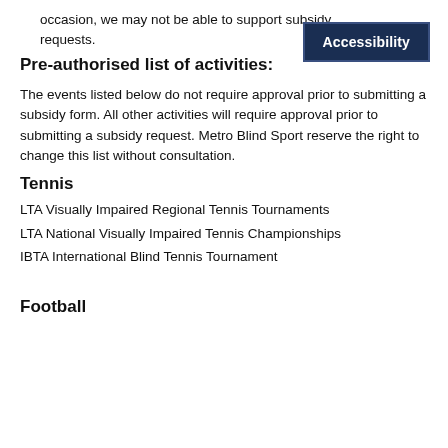occasion, we may not be able to support subsidy requests.
Pre-authorised list of activities:
The events listed below do not require approval prior to submitting a subsidy form. All other activities will require approval prior to submitting a subsidy request. Metro Blind Sport reserve the right to change this list without consultation.
Tennis
LTA Visually Impaired Regional Tennis Tournaments
LTA National Visually Impaired Tennis Championships
IBTA International Blind Tennis Tournament
Football